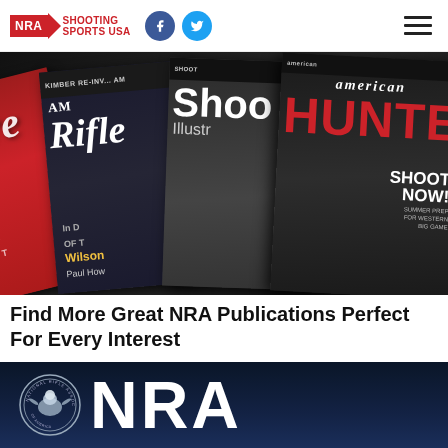NRA Shooting Sports USA
[Figure (photo): Fan spread of NRA publication magazines including Freedom, Rifle, Shooting Illustrated, and American Hunter covers arranged overlapping on dark background]
Find More Great NRA Publications Perfect For Every Interest
[Figure (logo): NRA logo with National Rifle Association eagle seal badge and large white NRA letters on dark navy blue background]